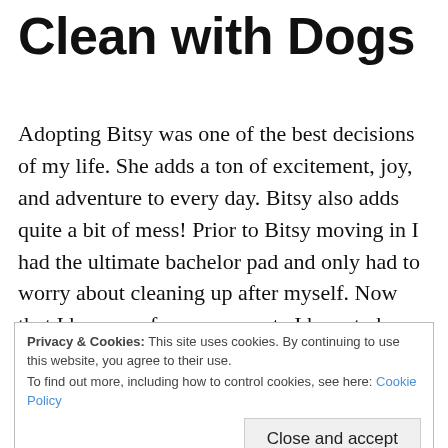Clean with Dogs
Adopting Bitsy was one of the best decisions of my life. She adds a ton of excitement, joy, and adventure to every day. Bitsy also adds quite a bit of mess! Prior to Bitsy moving in I had the ultimate bachelor pad and only had to worry about cleaning up after myself. Now that I have my furry roommate I have to be on top of keeping my home clean. I’m not always the most successful at it, but she these tips have helped me and I hope they can help you, too.
Privacy & Cookies: This site uses cookies. By continuing to use this website, you agree to their use.
To find out more, including how to control cookies, see here: Cookie Policy
Close and accept
much as others but if you have a “double-coated”